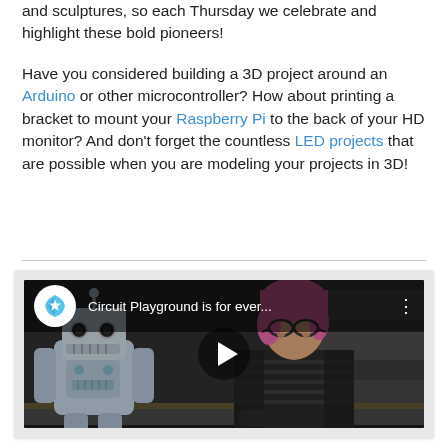and sculptures, so each Thursday we celebrate and highlight these bold pioneers!
Have you considered building a 3D project around an Arduino or other microcontroller? How about printing a bracket to mount your Raspberry Pi to the back of your HD monitor? And don't forget the countless LED projects that are possible when you are modeling your projects in 3D!
[Figure (screenshot): YouTube video thumbnail showing 'Circuit Playground is for ever...' with a woman with pink hair sitting at a desk next to a toy robot, with a play button in the center.]